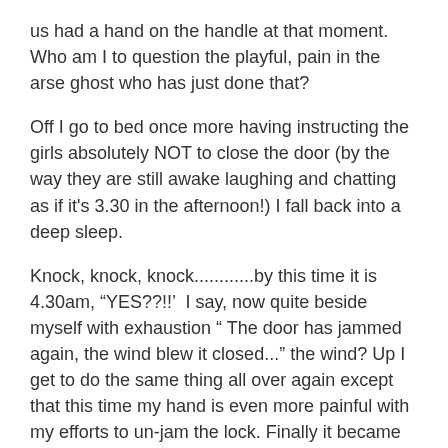us had a hand on the handle at that moment. Who am I to question the playful, pain in the arse ghost who has just done that?
Off I go to bed once more having instructing the girls absolutely NOT to close the door (by the way they are still awake laughing and chatting as if it's 3.30 in the afternoon!) I fall back into a deep sleep.
Knock, knock, knock............by this time it is 4.30am, “YES??!!’  I say, now quite beside myself with exhaustion “ The door has jammed again, the wind blew it closed...” the wind? Up I get to do the same thing all over again except that this time my hand is even more painful with my efforts to un-jam the lock. Finally it became apparent that I was going to have to call out